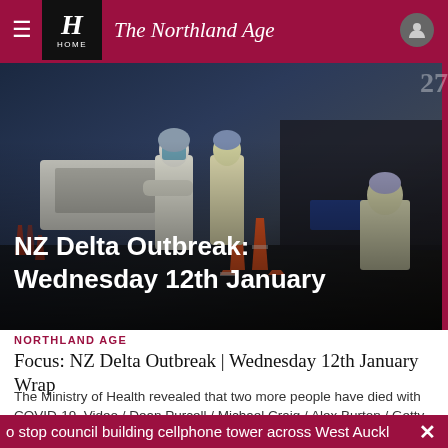The Northland Age — HOME
[Figure (photo): Healthcare workers in full PPE (white protective suits, face masks, head coverings) standing at what appears to be a COVID-19 testing station with traffic cones and cars in background. Text overlay reads: NZ Delta Outbreak: Wednesday 12th January]
NORTHLAND AGE
Focus: NZ Delta Outbreak | Wednesday 12th January Wrap
The Ministry of Health revealed that two more people have died with COVID-19. Video / Dean Purcell / Michael Craig / Alex Burton / Getty
[Figure (screenshot): Partial video thumbnail with play button, showing greenery/outdoor scene with Herald H watermark]
o stop council building cellphone tower across West Auckl  ×